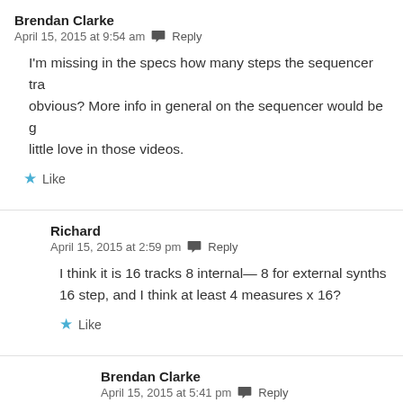Brendan Clarke
April 15, 2015 at 9:54 am  Reply
I'm missing in the specs how many steps the sequencer tra... obvious? More info in general on the sequencer would be g... little love in those videos.
Like
Richard
April 15, 2015 at 2:59 pm  Reply
I think it is 16 tracks 8 internal— 8 for external synths 16 step, and I think at least 4 measures x 16?
Like
Brendan Clarke
April 15, 2015 at 5:41 pm  Reply